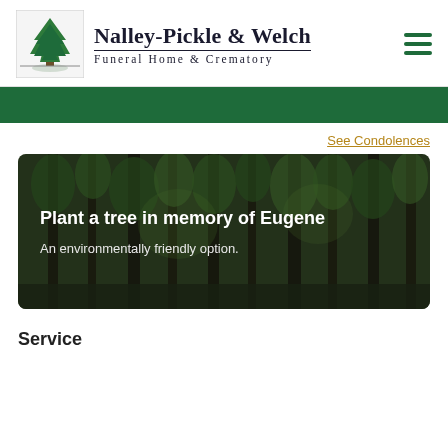[Figure (logo): Nalley-Pickle & Welch Funeral Home & Crematory logo with tree illustration and company name]
[Figure (other): Green navigation bar partially visible]
See Condolences
[Figure (photo): Forest banner with tall trees and overlay text: Plant a tree in memory of Eugene. An environmentally friendly option.]
Service